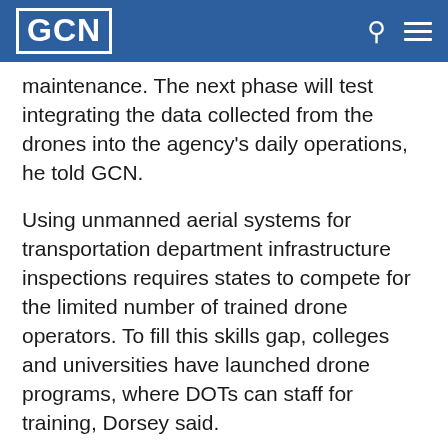GCN
maintenance. The next phase will test integrating the data collected from the drones into the agency's daily operations, he told GCN.
Using unmanned aerial systems for transportation department infrastructure inspections requires states to compete for the limited number of trained drone operators. To fill this skills gap, colleges and universities have launched drone programs, where DOTs can staff for training, Dorsey said.
The federal government has shown significant support for expanding commercial UAS operations, as evidenced by the UAS Integration Pilot Program announced in November 2017 that will give